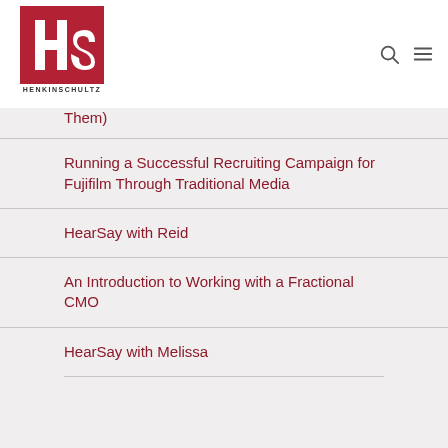[Figure (logo): HenkinSchultz logo: red square with white HS monogram, company name below]
Them)
Running a Successful Recruiting Campaign for Fujifilm Through Traditional Media
HearSay with Reid
An Introduction to Working with a Fractional CMO
HearSay with Melissa